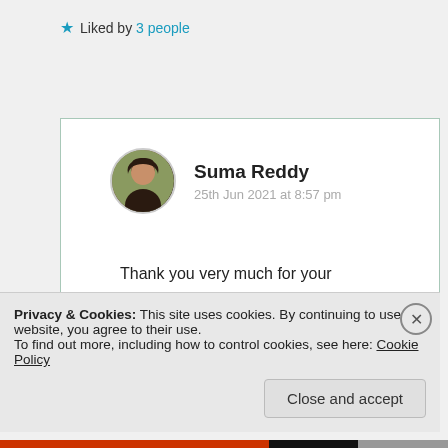★ Liked by 3 people
Log in to Reply
Suma Reddy
25th Jun 2021 at 8:57 pm
Thank you very much for your continued support and appreciation
Privacy & Cookies: This site uses cookies. By continuing to use this website, you agree to their use.
To find out more, including how to control cookies, see here: Cookie Policy
Close and accept